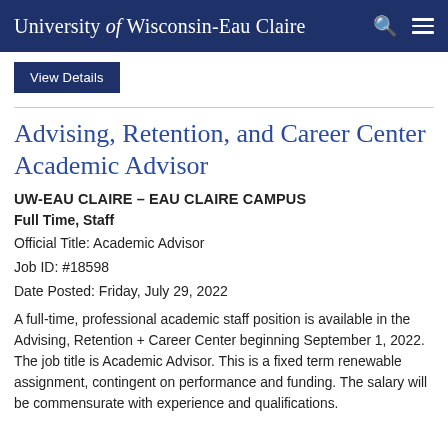University of Wisconsin-Eau Claire
View Details
Advising, Retention, and Career Center Academic Advisor
UW-EAU CLAIRE – EAU CLAIRE CAMPUS
Full Time, Staff
Official Title: Academic Advisor
Job ID: #18598
Date Posted: Friday, July 29, 2022
A full-time, professional academic staff position is available in the Advising, Retention + Career Center beginning September 1, 2022. The job title is Academic Advisor. This is a fixed term renewable assignment, contingent on performance and funding. The salary will be commensurate with experience and qualifications.